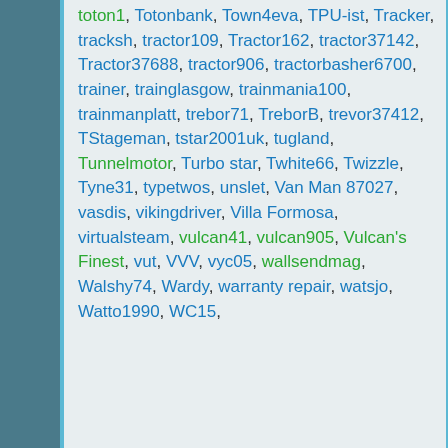toton1, Totonbank, Town4eva, TPU-ist, Tracker, tracksh, tractor109, Tractor162, tractor37142, Tractor37688, tractor906, tractorbasher6700, trainer, trainglasgow, trainmania100, trainmanplatt, trebor71, TreborB, trevor37412, TStageman, tstar2001uk, tugland, Tunnelmotor, Turbo star, Twhite66, Twizzle, Tyne31, typetwos, unslet, Van Man 87027, vasdis, vikingdriver, Villa Formosa, virtualsteam, vulcan41, vulcan905, Vulcan's Finest, vut, VVV, vyc05, wallsendmag, Walshy74, Wardy, warranty repair, watsjo, Watto1990, WC15,